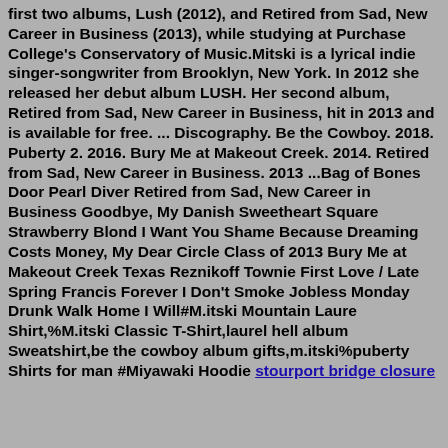first two albums, Lush (2012), and Retired from Sad, New Career in Business (2013), while studying at Purchase College's Conservatory of Music.Mitski is a lyrical indie singer-songwriter from Brooklyn, New York. In 2012 she released her debut album LUSH. Her second album, Retired from Sad, New Career in Business, hit in 2013 and is available for free. ... Discography. Be the Cowboy. 2018. Puberty 2. 2016. Bury Me at Makeout Creek. 2014. Retired from Sad, New Career in Business. 2013 ...Bag of Bones Door Pearl Diver Retired from Sad, New Career in Business Goodbye, My Danish Sweetheart Square Strawberry Blond I Want You Shame Because Dreaming Costs Money, My Dear Circle Class of 2013 Bury Me at Makeout Creek Texas Reznikoff Townie First Love / Late Spring Francis Forever I Don't Smoke Jobless Monday Drunk Walk Home I Will#M.itski Mountain Laure Shirt,%M.itski Classic T-Shirt,laurel hell album Sweatshirt,be the cowboy album gifts,m.itski%puberty Shirts for man #Miyawaki Hoodie stourport bridge closure